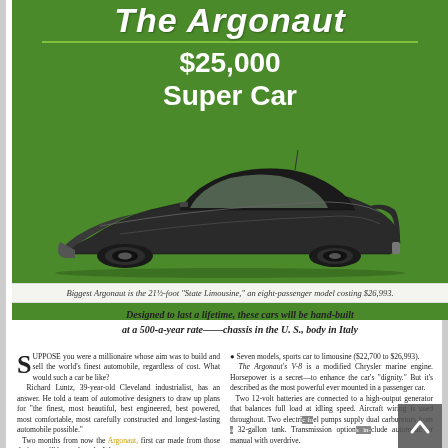The Argonaut
$25,000 Super Car
[Figure (photo): Side-profile photograph of the Argonaut automobile, a sleek futuristic car with low streamlined body, set against green background.]
Biggest Argonaut is the 21½-foot "State Limousine," an eight-passenger model costing $26,993.
Designed to last a lifetime, these cars will be hand-built at a 500-a-year rate——chassis in the U. S., body in Italy
SUPPOSE you were a millionaire whose aim was to build and sell the world's finest automobile, regardless of cost. What would such a car be like?
 Richard Luntz, 39-year-old Cleveland industrialist, has an answer. He told a team of automotive designers to draw up plans for "the finest, most beautiful, best engineered, best powered, most comfortable, most carefully constructed and longest-lasting automobile possible."
 Two months from now the Argonaut, first car made from those designs, will be road-ready. It has:
● A tubular steel frame of high
● Seven models, sports car to limousine ($22,700 to $26,993).
 The Argonaut's V-8 is a modified Chrysler marine engine. Horsepower is a secret—to enhance the car's "dignity." But it's described as the most powerful ever mounted in a passenger car.
 Two 12-volt batteries are connected to a high-output generator that balances full load at idling speed. Aircraft wiring is used throughout. Two electric fuel pumps supply dual carburetors from a 32-gallon tank. Transmission options include automatic or manual with overdrive.
 Chassis come with a 154″ wheelbase